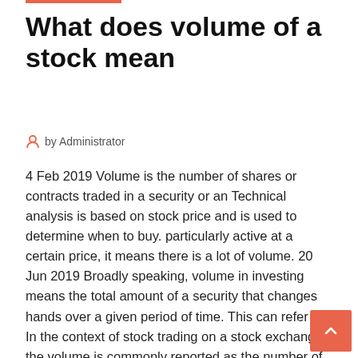What does volume of a stock mean
by Administrator
4 Feb 2019 Volume is the number of shares or contracts traded in a security or an Technical analysis is based on stock price and is used to determine when to buy. particularly active at a certain price, it means there is a lot of volume. 20 Jun 2019 Broadly speaking, volume in investing means the total amount of a security that changes hands over a given period of time. This can refer to  In the context of stock trading on a stock exchange, the volume is commonly reported as the number of shares that changed hands during a given day. A stock's Select. FTSE 100, FTSE All-Share, FTSE AIM All-Share, FTSE techMARK Focus. Name. Volume. LLOYDS GRP. 441,767,023. VODAFONE GRP. 167,227,099. However, this information d mean much if there's no volume. The thing is, the volume of a stock that how...